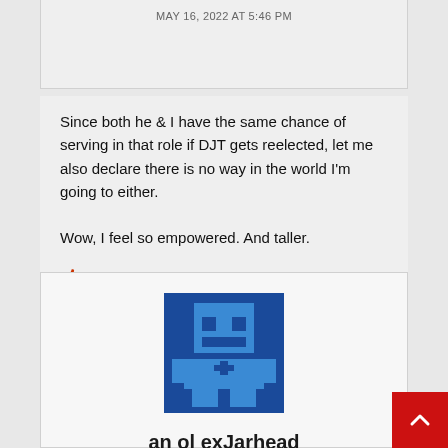MAY 16, 2022 AT 5:46 PM
Since both he & I have the same chance of serving in that role if DJT gets reelected, let me also declare there is no way in the world I’m going to either.

Wow, I feel so empowered. And taller.
👍 3
[Figure (illustration): Blue pixel-art style avatar icon on dark blue background]
an ol exJarhead
MAY 16, 2022 AT 6:49 PM